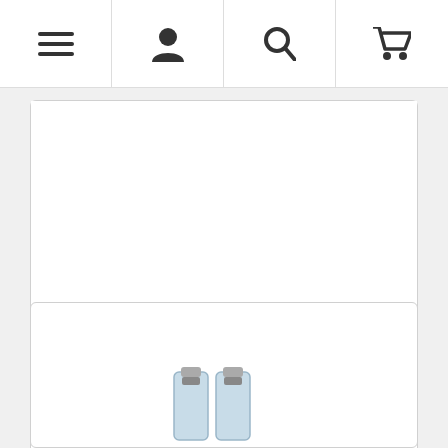Navigation bar with menu, account, search, and cart icons
Diuron 80DF Herbicide
From $26.85
Buy Now
[Figure (photo): Second product card with product image (bottles) partially visible at bottom]